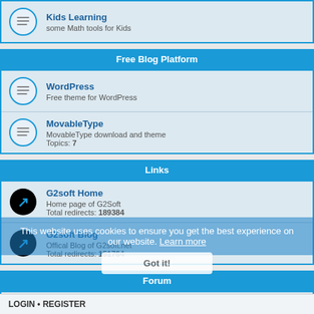Kids Learning — some Math tools for Kids
Free Blog Platform
WordPress — Free theme for WordPress
MovableType — MovableType download and theme. Topics: 7
Links
G2soft Home — Home page of G2Soft. Total redirects: 189384
G2soft Blog — Offical Blog of G2soft.net. Total redirects: 151764
Forum
Others — Topics: 7
This website uses cookies to ensure you get the best experience on our website. Learn more
LOGIN • REGISTER